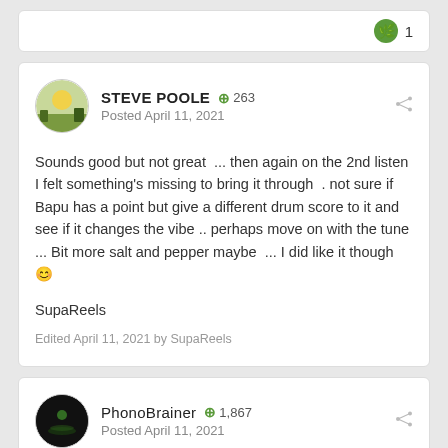1
STEVE POOLE  263
Posted April 11, 2021
Sounds good but not great  ... then again on the 2nd listen I felt something's missing to bring it through  . not sure if Bapu has a point but give a different drum score to it and see if it changes the vibe .. perhaps move on with the tune ... Bit more salt and pepper maybe  ... I did like it though 🙂

SupaReels
Edited April 11, 2021 by SupaReels
PhonoBrainer  1,867
Posted April 11, 2021